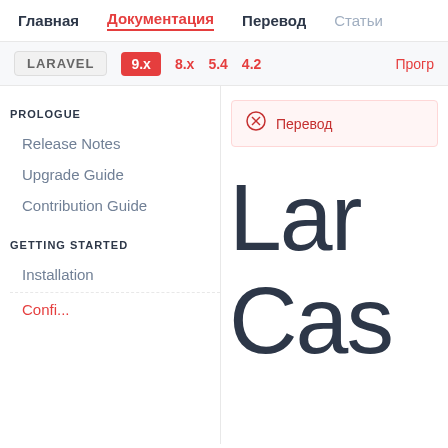Главная | Документация | Перевод | Статьи
LARAVEL 9.x 8.x 5.4 4.2 Прогр
PROLOGUE
Release Notes
Upgrade Guide
Contribution Guide
GETTING STARTED
Installation
Перевод
Lar
Cas